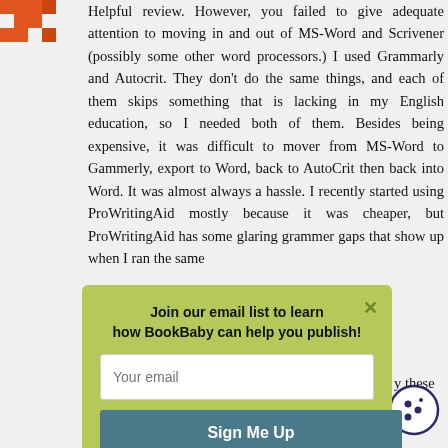[Figure (logo): Orange pixelated/geometric logo icon in top left corner]
Helpful review. However, you failed to give adequate attention to moving in and out of MS-Word and Scrivener (possibly some other word processors.) I used Grammarly and Autocrit. They don't do the same things, and each of them skips something that is lacking in my English education, so I needed both of them. Besides being expensive, it was difficult to mover from MS-Word to Gammerly, export to Word, back to AutoCrit then back into Word. It was almost always a hassle. I recently started using ProWritingAid mostly because it was cheaper, but ProWritingAid has some glaring grammer gaps that show up when I ran the same
y these ling r
[Figure (infographic): Popup modal with olive/yellow-green background. Title: 'Join our email list to learn how BookBaby can help you publish!' with a close X button, an email input field with placeholder 'Your email', and a teal 'Sign Me Up' button.]
[Figure (illustration): Cookie consent icon in bottom right corner — circular icon with cookie/biscuit illustration in dark navy outline]